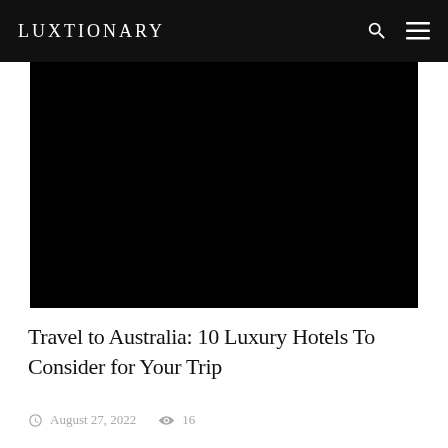LUXTIONARY
[Figure (photo): Dark/black hero image for article about luxury hotels in Australia]
Travel to Australia: 10 Luxury Hotels To Consider for Your Trip
August 27, 2022  16